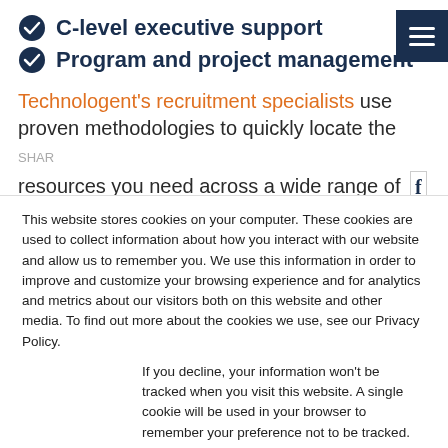C-level executive support
Program and project management
Technologent's recruitment specialists use proven methodologies to quickly locate the resources you need across a wide range of
This website stores cookies on your computer. These cookies are used to collect information about how you interact with our website and allow us to remember you. We use this information in order to improve and customize your browsing experience and for analytics and metrics about our visitors both on this website and other media. To find out more about the cookies we use, see our Privacy Policy.
If you decline, your information won't be tracked when you visit this website. A single cookie will be used in your browser to remember your preference not to be tracked.